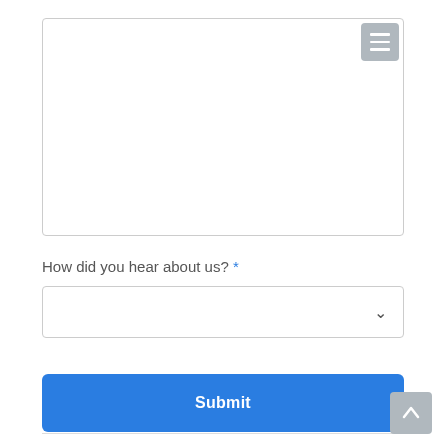[Figure (screenshot): A textarea input box with a hamburger menu icon in the top-right corner]
How did you hear about us? *
[Figure (screenshot): A dropdown select input box with a chevron/arrow icon on the right]
Submit
[Figure (screenshot): A scroll-to-top button with an upward arrow icon in the bottom-right corner]